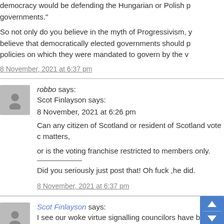democracy would be defending the Hungarian or Polish p governments."
So not only do you believe in the myth of Progressivism, y believe that democratically elected governments should p policies on which they were mandated to govern by the v
8 November, 2021 at 6:37 pm
robbo says:
Scot Finlayson says:
8 November, 2021 at 6:26 pm
Can any citizen of Scotland or resident of Scotland vote c matters,
or is the voting franchise restricted to members only.
Did you seriously just post that! Oh fuck ,he did.
8 November, 2021 at 6:37 pm
Scot Finlayson says:
I see our woke virtue signalling councilors have b